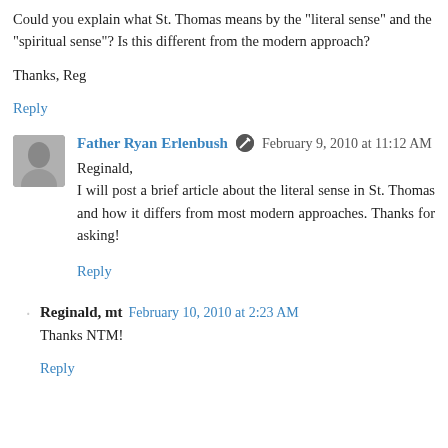Could you explain what St. Thomas means by the "literal sense" and the "spiritual sense"? Is this different from the modern approach?
Thanks, Reg
Reply
Father Ryan Erlenbush  February 9, 2010 at 11:12 AM
Reginald,
I will post a brief article about the literal sense in St. Thomas and how it differs from most modern approaches. Thanks for asking!
Reply
Reginald, mt  February 10, 2010 at 2:23 AM
Thanks NTM!
Reply